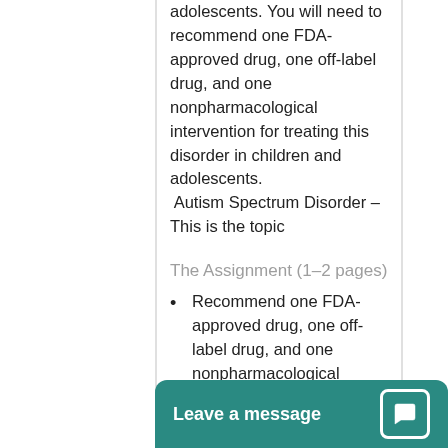adolescents. You will need to recommend one FDA-approved drug, one off-label drug, and one nonpharmacological intervention for treating this disorder in children and adolescents. Autism Spectrum Disorder – This is the topic
The Assignment (1–2 pages)
Recommend one FDA-approved drug, one off-label drug, and one nonpharmacological intervention for treating your assigned disorder in children and adolescents.
Explain the risk assessment you would use to decision ma…